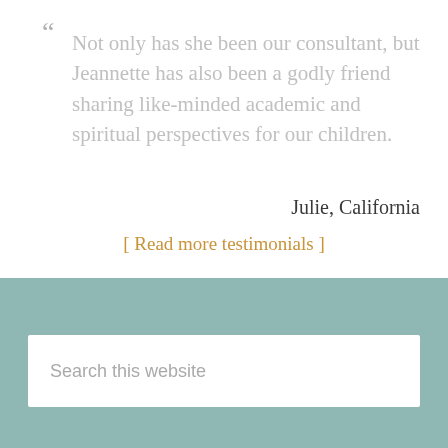“ Not only has she been our consultant, but Jeannette has also been a godly friend sharing like-minded academic and spiritual perspectives for our children.
Julie, California
[ Read more testimonials ]
Search this website